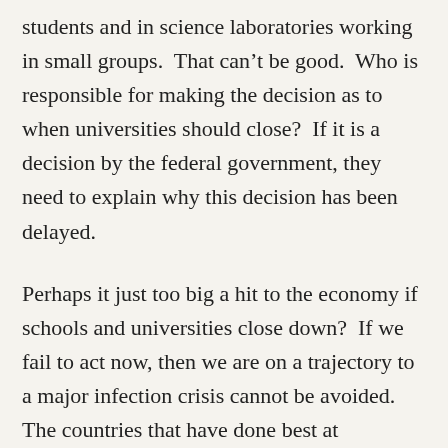students and in science laboratories working in small groups.  That can't be good.  Who is responsible for making the decision as to when universities should close?  If it is a decision by the federal government, they need to explain why this decision has been delayed.

Perhaps it just too big a hit to the economy if schools and universities close down?  If we fail to act now, then we are on a trajectory to a major infection crisis cannot be avoided.  The countries that have done best at flattening the infection curve are those that have engaged in widespread testing and introduced extensive social distancing measures.  So far it has been a paltry effort in Australia, and with only 2000 ICU beds